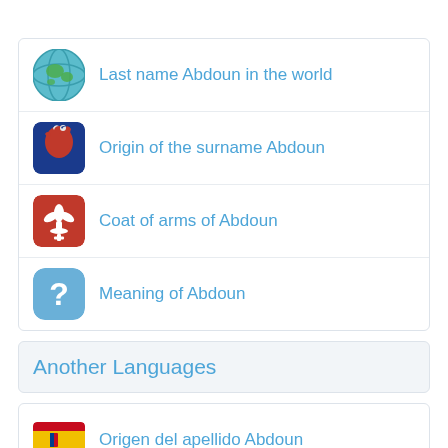Last name Abdoun in the world
Origin of the surname Abdoun
Coat of arms of Abdoun
Meaning of Abdoun
Another Languages
Origen del apellido Abdoun
Origine du nom de famille Abdoun